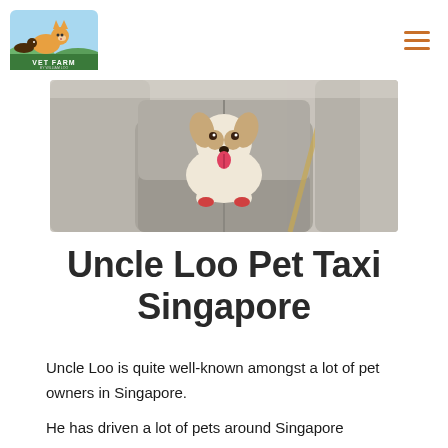Vet Farm by William Loo — navigation header with logo and hamburger menu
[Figure (photo): A dog (Basenji or similar breed) sitting upright on a car back seat, tongue out, looking at the camera. Light beige/grey leather interior visible.]
Uncle Loo Pet Taxi Singapore
Uncle Loo is quite well-known amongst a lot of pet owners in Singapore.
He has driven a lot of pets around Singapore